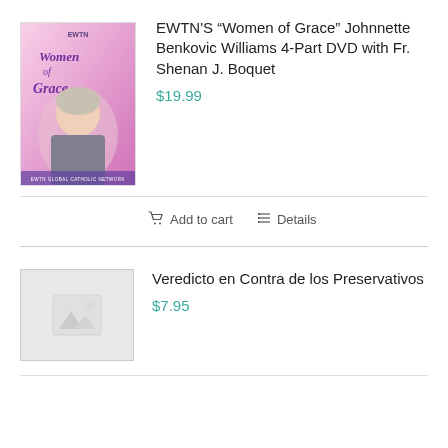[Figure (illustration): Women of Grace DVD cover with woman portrait on pink/purple background with EWTN logo]
EWTN'S “Women of Grace” Johnnette Benkovic Williams 4-Part DVD with Fr. Shenan J. Boquet
$19.99
Add to cart
Details
[Figure (illustration): Placeholder image thumbnail with mountain/sun icon]
Veredicto en Contra de los Preservativos
$7.95